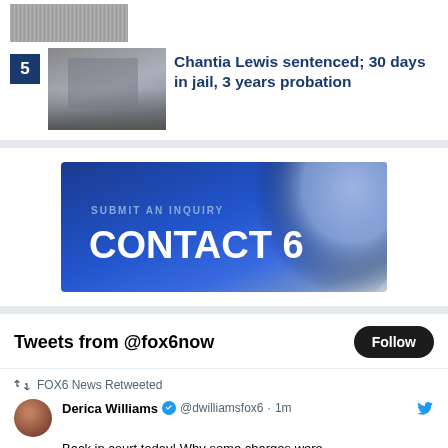[Figure (photo): Thumbnail image of person in orange top, partially visible at top of page]
5  Chantia Lewis sentenced; 30 days in jail, 3 years probation
[Figure (photo): Thumbnail image of Chantia Lewis in court wearing glasses]
[Figure (screenshot): Contact 6 banner ad — blue gradient background with text 'SUBMIT AN INQUIRY' and 'CONTACT 6']
Tweets from @fox6now
FOX6 News Retweeted
Derica Williams @dwilliamsfox6 · 1m
Back in court today! Why some charges were